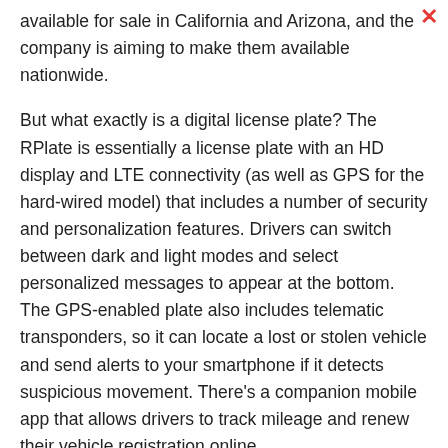available for sale in California and Arizona, and the company is aiming to make them available nationwide.
But what exactly is a digital license plate? The RPlate is essentially a license plate with an HD display and LTE connectivity (as well as GPS for the hard-wired model) that includes a number of security and personalization features. Drivers can switch between dark and light modes and select personalized messages to appear at the bottom. The GPS-enabled plate also includes telematic transponders, so it can locate a lost or stolen vehicle and send alerts to your smartphone if it detects suspicious movement. There's a companion mobile app that allows drivers to track mileage and renew their vehicle registration online.
Reviver's digital plate also includes a couple of security features that could be overkill for some. For example, there's a "Valet Parking" mode that lets you monitor your